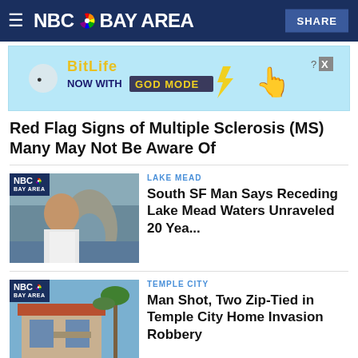NBC Bay Area
[Figure (other): BitLife advertisement banner - 'NOW WITH GOD MODE']
Red Flag Signs of Multiple Sclerosis (MS) Many May Not Be Aware Of
[Figure (photo): NBC Bay Area thumbnail - man with mustache in front of rock formation near water]
LAKE MEAD
South SF Man Says Receding Lake Mead Waters Unraveled 20 Yea...
[Figure (photo): NBC Bay Area thumbnail - house exterior with palm tree]
TEMPLE CITY
Man Shot, Two Zip-Tied in Temple City Home Invasion Robbery